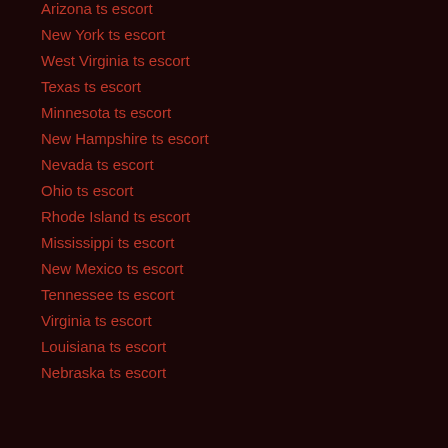Arizona ts escort
New York ts escort
West Virginia ts escort
Texas ts escort
Minnesota ts escort
New Hampshire ts escort
Nevada ts escort
Ohio ts escort
Rhode Island ts escort
Mississippi ts escort
New Mexico ts escort
Tennessee ts escort
Virginia ts escort
Louisiana ts escort
Nebraska ts escort